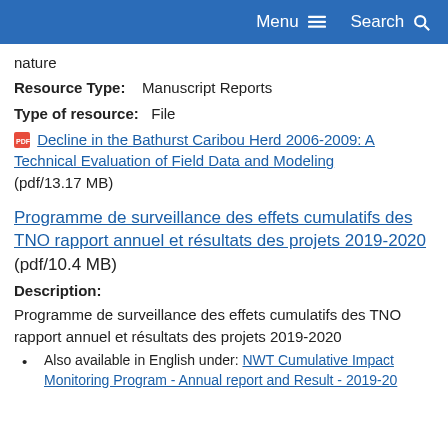Menu  Search
nature
Resource Type:    Manuscript Reports
Type of resource:   File
Decline in the Bathurst Caribou Herd 2006-2009: A Technical Evaluation of Field Data and Modeling (pdf/13.17 MB)
Programme de surveillance des effets cumulatifs des TNO rapport annuel et résultats des projets 2019-2020 (pdf/10.4 MB)
Description:
Programme de surveillance des effets cumulatifs des TNO rapport annuel et résultats des projets 2019-2020
Also available in English under: NWT Cumulative Impact Monitoring Program - Annual report and Result - 2019-20